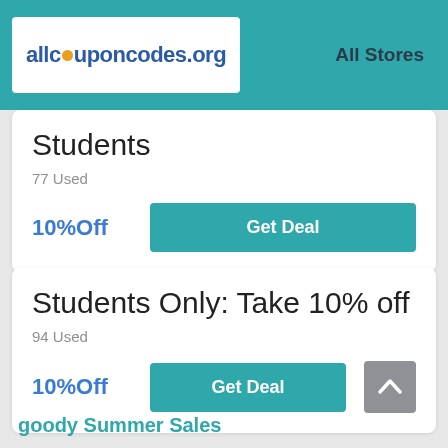allcouponcodes.org  All Stores
Students
77 Used
10%Off
Get Deal
Students Only: Take 10% off
94 Used
10%Off
Get Deal
goody Summer Sales